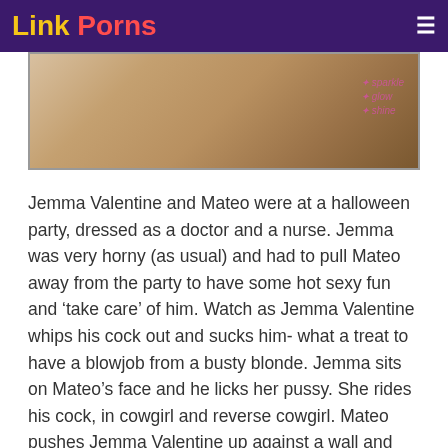Link Porns
[Figure (photo): Partial view of a blonde person, cropped photo used as hero/thumbnail image for the article.]
Jemma Valentine and Mateo were at a halloween party, dressed as a doctor and a nurse. Jemma was very horny (as usual) and had to pull Mateo away from the party to have some hot sexy fun and ‘take care’ of him. Watch as Jemma Valentine whips his cock out and sucks him- what a treat to have a blowjob from a busty blonde. Jemma sits on Mateo’s face and he licks her pussy. She rides his cock, in cowgirl and reverse cowgirl. Mateo pushes Jemma Valentine up against a wall and fucks her wet cunt from behind, and puts her on her back in missionary as well. The finale of this fucking scene is Mateo cumming on Jemma’s face and some in her mouth too, which she swallows. Jemma Valentine et Mateo a ete a un partie pour l’halloween, Jemma a porte les vetements d’une infirmiere et Mateo comme un medicin. Jemma a ete bandant comme toujours et elle dois demarre Mateo par